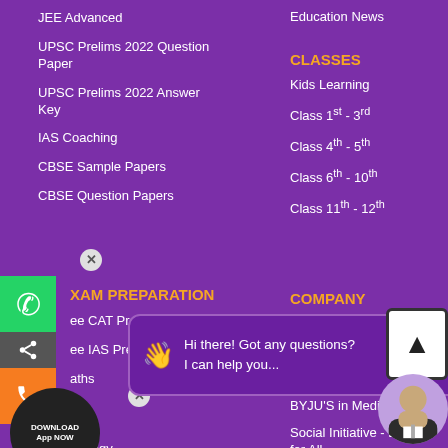JEE Advanced
UPSC Prelims 2022 Question Paper
UPSC Prelims 2022 Answer Key
IAS Coaching
CBSE Sample Papers
CBSE Question Papers
Education News
CLASSES
Kids Learning
Class 1st - 3rd
Class 4th - 5th
Class 6th - 10th
Class 11th - 12th
EXAM PREPARATION
Free CAT Prep
Free IAS Prep
Maths
COMPANY
About Us
Careers
BYJU'S in Media
Social Initiative - Education for All
Chemistry
Biology
JEE Main 2022